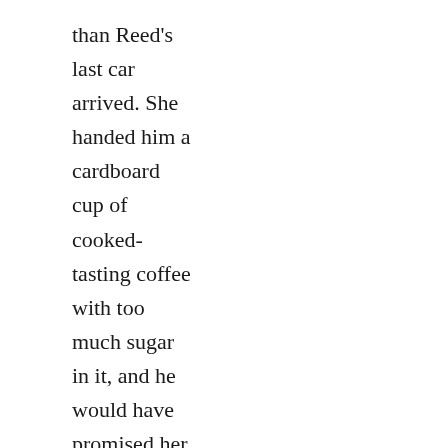than Reed's last car arrived. She handed him a cardboard cup of cooked-tasting coffee with too much sugar in it, and he would have promised her his firstborn if he'd known